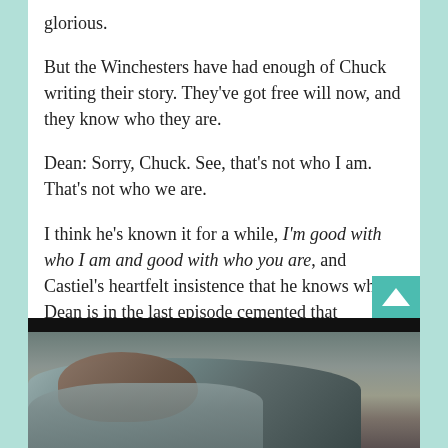glorious.
But the Winchesters have had enough of Chuck writing their story. They've got free will now, and they know who they are.
Dean: Sorry, Chuck. See, that's not who I am. That's not who we are.
I think he's known it for a while, I'm good with who I am and good with who you are, and Castiel's heartfelt insistence that he knows who Dean is in the last episode cemented that awareness even more.
[Figure (photo): A close-up photo of a person with short brown hair lying down, viewed from above, against a blurred outdoor background. Dark/black border at top.]